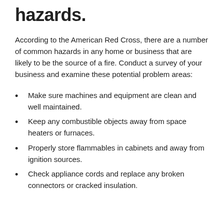hazards.
According to the American Red Cross, there are a number of common hazards in any home or business that are likely to be the source of a fire. Conduct a survey of your business and examine these potential problem areas:
Make sure machines and equipment are clean and well maintained.
Keep any combustible objects away from space heaters or furnaces.
Properly store flammables in cabinets and away from ignition sources.
Check appliance cords and replace any broken connectors or cracked insulation.